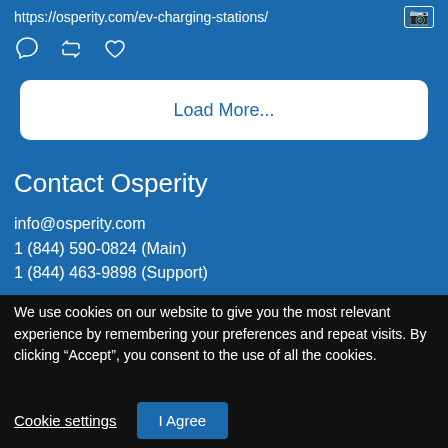https://osperity.com/ev-charging-stations/
[Figure (screenshot): Social media interaction icons: comment bubble, retweet/share arrows, heart/like]
Load More...
Contact Osperity
info@osperity.com
1 (844) 590-0824 (Main)
1 (844) 463-9898 (Support)
We use cookies on our website to give you the most relevant experience by remembering your preferences and repeat visits. By clicking “Accept”, you consent to the use of all the cookies.
Cookie settings
I Agree